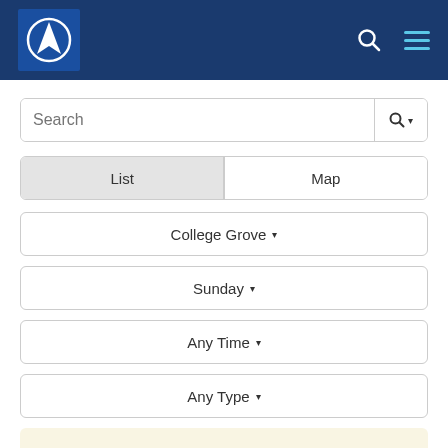[Figure (logo): Navigation/website logo with white triangle/sail icon in a circle on dark blue background, with search and hamburger menu icons]
Search
List	Map
College Grove ▾
Sunday ▾
Any Time ▾
Any Type ▾
No meetings were found matching the selected criteria.